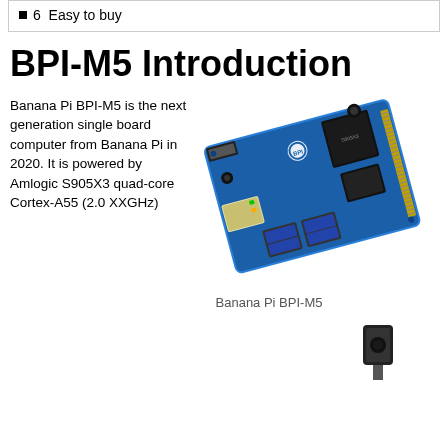6  Easy to buy
BPI-M5 Introduction
Banana Pi BPI-M5 is the next generation single board computer from Banana Pi in 2020. It is powered by Amlogic S905X3 quad-core Cortex-A55 (2.0 XXGHz)
[Figure (photo): Photo of Banana Pi BPI-M5 single board computer, angled top view showing blue PCB with USB ports, Ethernet, HDMI, and chip components]
Banana Pi BPI-M5
[Figure (photo): Partial photo of another component or board, partially visible at bottom right of page]